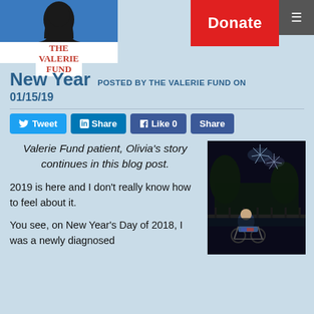THE VALERIE FUND | Donate | Menu
New Year POSTED BY THE VALERIE FUND ON 01/15/19
Tweet | Share | Like 0 | Share
Valerie Fund patient, Olivia's story continues in this blog post.
[Figure (photo): Person in a wheelchair at nighttime with fireworks in the background]
2019 is here and I don't really know how to feel about it.
You see, on New Year's Day of 2018, I was a newly diagnosed